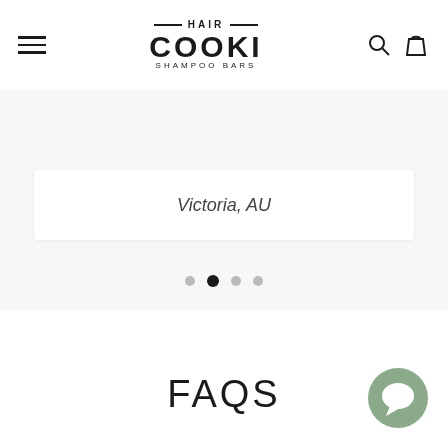HAIR COOKI SHAMPOO BARS
Victoria, AU
[Figure (other): Carousel pagination dots — 4 dots with the second one active/filled]
FAQS
[Figure (other): Green circular chat/messaging widget button in bottom-right corner]